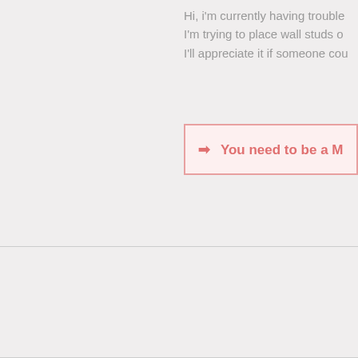Hi, i'm currently having trouble I'm trying to place wall studs o I'll appreciate it if someone cou
➡ You need to be a M
tuna1957 ℹ Premium Member
Re: Flowify problems
by tuna1957 » Mon Jul 25, 2022 10:5
n hong, Flowify might not be th tests end up distorting the sha Along Curve" by Anton S.